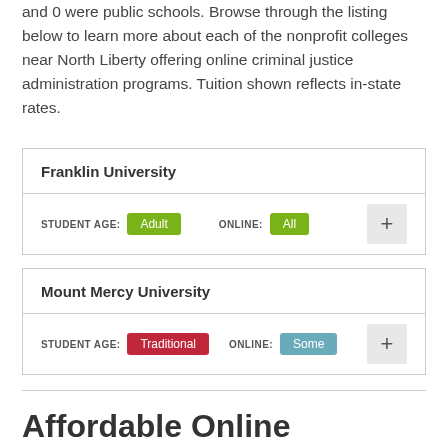and 0 were public schools. Browse through the listing below to learn more about each of the nonprofit colleges near North Liberty offering online criminal justice administration programs. Tuition shown reflects in-state rates.
| Franklin University | STUDENT AGE | ONLINE |
| --- | --- | --- |
| Franklin University | Adult | All |
| Mount Mercy University | STUDENT AGE | ONLINE |
| --- | --- | --- |
| Mount Mercy University | Traditional | Some |
Affordable Online Criminal